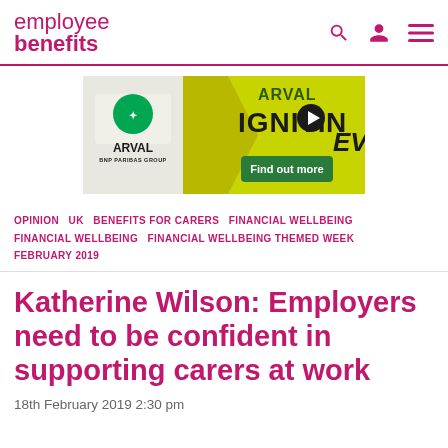employee benefits
[Figure (other): Arval BNP Paribas Group - Arval Ignition EV advertisement banner with yellow-green background, arrow shape, and 'Find out more' button]
OPINION   UK   BENEFITS FOR CARERS   FINANCIAL WELLBEING   FINANCIAL WELLBEING   FINANCIAL WELLBEING THEMED WEEK   FEBRUARY 2019
Katherine Wilson: Employers need to be confident in supporting carers at work
18th February 2019 2:30 pm